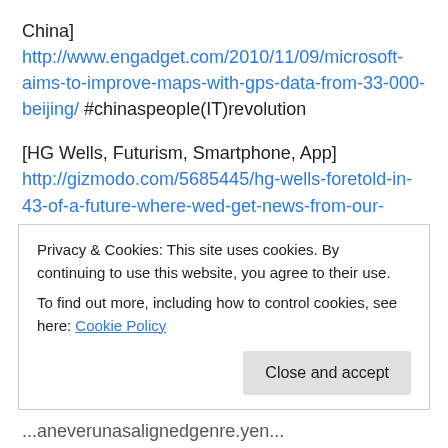China] http://www.engadget.com/2010/11/09/microsoft-aims-to-improve-maps-with-gps-data-from-33-000-beijing/ #chinaspeople(IT)revolution
[HG Wells, Futurism, Smartphone, App] http://gizmodo.com/5685445/hg-wells-foretold-in-43-of-a-future-where-wed-get-news-from-our-phones #DocBrown'stimetravelsconsequences
[Social Media, Social Web, Browser, Share] http://mashable.com/2010/11/10/mozilla-f1/ //credentialsbattle
Privacy & Cookies: This site uses cookies. By continuing to use this website, you agree to their use. To find out more, including how to control cookies, see here: Cookie Policy
Close and accept
...aneverunasalignedgenre.yen...